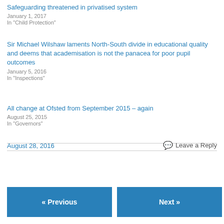Safeguarding threatened in privatised system
January 1, 2017
In "Child Protection"
Sir Michael Wilshaw laments North-South divide in educational quality and deems that academisation is not the panacea for poor pupil outcomes
January 5, 2016
In "Inspections"
All change at Ofsted from September 2015 – again
August 25, 2015
In "Governors"
August 28, 2016
💬 Leave a Reply
« Previous
Next »